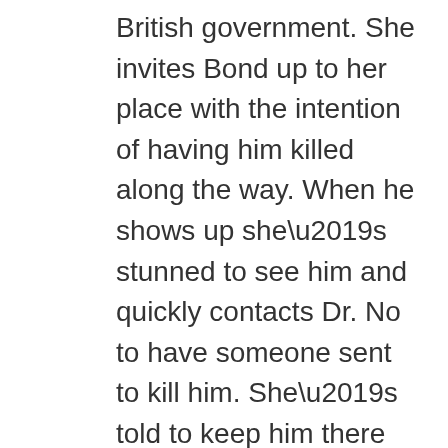British government. She invites Bond up to her place with the intention of having him killed along the way. When he shows up she’s stunned to see him and quickly contacts Dr. No to have someone sent to kill him. She’s told to keep him there for a few hours so they end up in the sack and have more than one go at it. Bond is on to her tricks, though, and has her arrested. When she gets into the police car and Bond leans through the window to talk to the officer she spits in his face. She’s a more typical Bond Girl in that she is in league with the villain, is gorgeous and sleeps with Bond as a ruse to try and kill him or get information out of him.